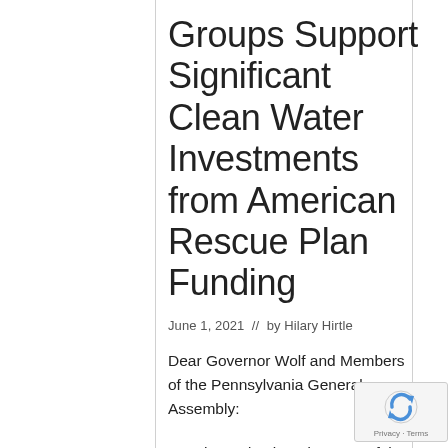Groups Support Significant Clean Water Investments from American Rescue Plan Funding
June 1, 2021  //  by Hilary Hirtle
Dear Governor Wolf and Members of the Pennsylvania General Assembly:
We, the undersigned groups of the conservation, business, environmental protection, and faith